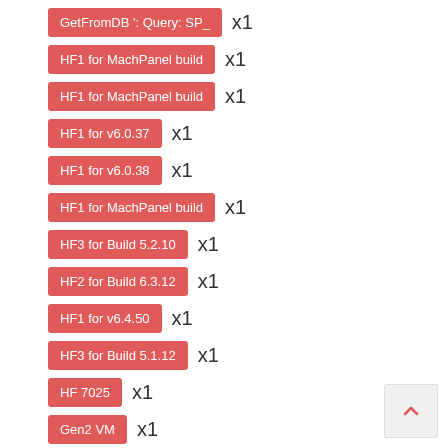GetFromDB ': Query: SP_  x1
HF1 for MachPanel build  x1
HF1 for MachPanel build  x1
HF1 for v6.0.37  x1
HF1 for v6.0.38  x1
HF1 for MachPanel build  x1
HF3 for Build 5.2.10  x1
HF2 for Build 6.3.12  x1
HF1 for v6.4.50  x1
HF3 for Build 5.1.12  x1
HF 7025  x1
Gen2 VM  x1
Give Security Group Perm  x1